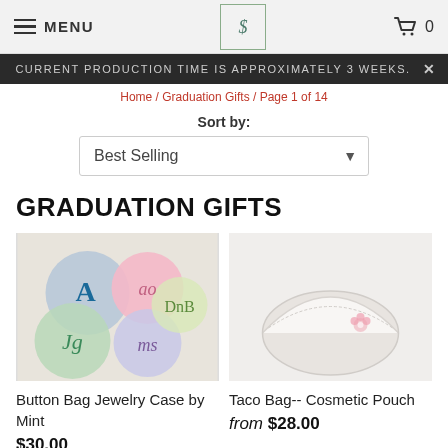MENU [logo] 0
CURRENT PRODUCTION TIME IS APPROXIMATELY 3 WEEKS.
Home / Graduation Gifts / Page 1 of 14
Sort by:
Best Selling
GRADUATION GIFTS
[Figure (photo): Button Bag Jewelry Cases by Mint — colorful round fabric coin purses with embroidered monogram letters]
Button Bag Jewelry Case by Mint
$30.00
[Figure (photo): Taco Bag Cosmetic Pouch — white half-moon shaped bag with small pink floral detail]
Taco Bag-- Cosmetic Pouch
from $28.00